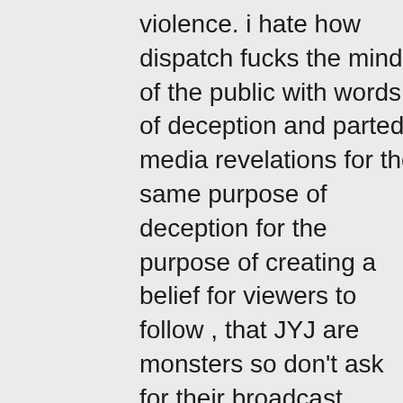violence. i hate how dispatch fucks the mind of the public with words of deception and parted media revelations for the same purpose of deception for the purpose of creating a belief for viewers to follow , that JYJ are monsters so don't ask for their broadcast anymore forget JYJ, and thats how JYJ gets kicked from the industry because people who think JYJ are monsters would not support JYJ and would no longer ask for JYJ